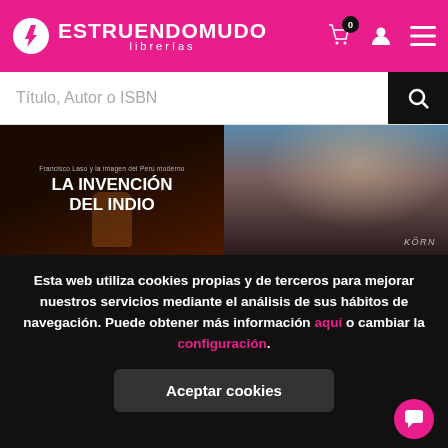ESTRUENDOMUDO librerías
Título, Autor o ISBN
[Figure (photo): Book cover: LA INVENCIÓN DEL INDIO - Francisco Laso y la imagen del Perú moderno, dark brown background with figurine]
[Figure (photo): Book cover: elderly man with long white beard, dark jacket, KORN label visible]
Esta web utiliza cookies propias y de terceros para mejorar nuestros servicios mediante el análisis de sus hábitos de navegación. Puede obtener más información aquí o cambiar la configuración.
Aceptar cookies